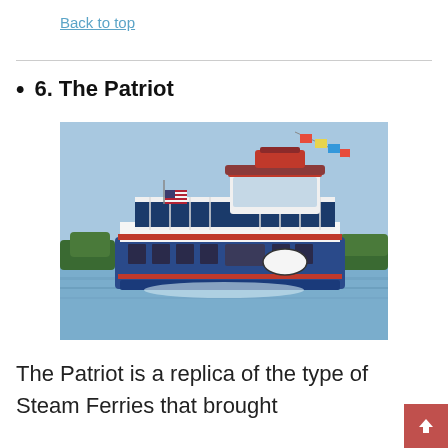Back to top
6. The Patriot
[Figure (photo): A two-deck tour boat called The Patriot, white with blue hull and red trim, flying a US flag, decorated with colorful flags on top, cruising on a calm lake with trees in the background.]
The Patriot is a replica of the type of Steam Ferries that brought